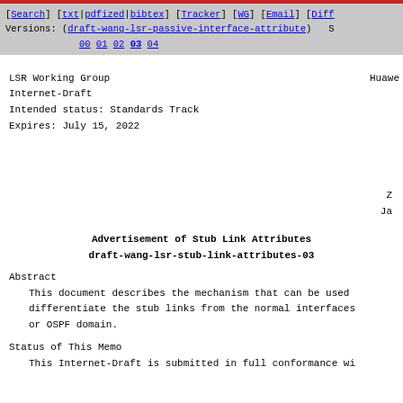[Search] [txt|pdfized|bibtex] [Tracker] [WG] [Email] [Diff Versions: (draft-wang-lsr-passive-interface-attribute) S 00 01 02 03 04
LSR Working Group
Internet-Draft
Intended status: Standards Track
Expires: July 15, 2022
Huawe
Z
Ja
Advertisement of Stub Link Attributes
draft-wang-lsr-stub-link-attributes-03
Abstract
This document describes the mechanism that can be used differentiate the stub links from the normal interfaces or OSPF domain.
Status of This Memo
This Internet-Draft is submitted in full conformance wi